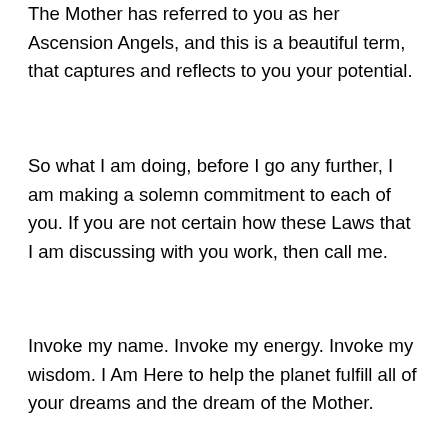The Mother has referred to you as her Ascension Angels, and this is a beautiful term, that captures and reflects to you your potential.
So what I am doing, before I go any further, I am making a solemn commitment to each of you. If you are not certain how these Laws that I am discussing with you work, then call me.
Invoke my name. Invoke my energy. Invoke my wisdom. I Am Here to help the planet fulfill all of your dreams and the dream of the Mother.